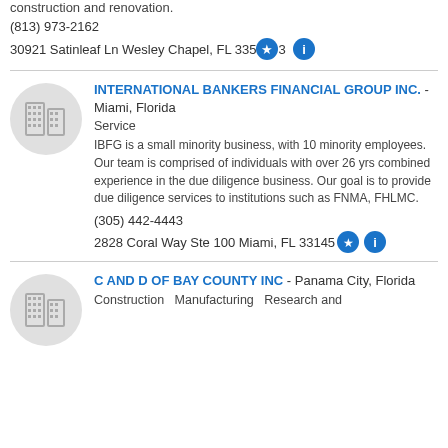construction and renovation.
(813) 973-2162
30921 Satinleaf Ln Wesley Chapel, FL 33543
INTERNATIONAL BANKERS FINANCIAL GROUP INC. - Miami, Florida
Service
IBFG is a small minority business, with 10 minority employees. Our team is comprised of individuals with over 26 yrs combined experience in the due diligence business. Our goal is to provide due diligence services to institutions such as FNMA, FHLMC.
(305) 442-4443
2828 Coral Way Ste 100 Miami, FL 33145
C AND D OF BAY COUNTY INC - Panama City, Florida
Construction  Manufacturing  Research and